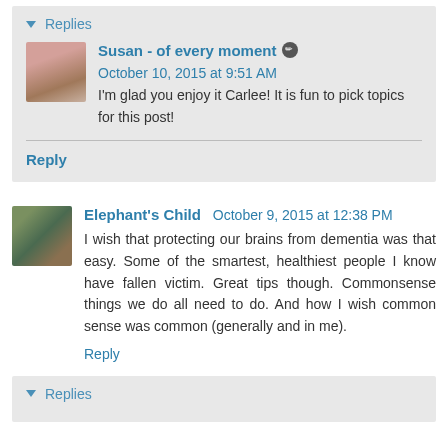▼ Replies
Susan - of every moment  October 10, 2015 at 9:51 AM
I'm glad you enjoy it Carlee! It is fun to pick topics for this post!
Reply
Elephant's Child  October 9, 2015 at 12:38 PM
I wish that protecting our brains from dementia was that easy. Some of the smartest, healthiest people I know have fallen victim. Great tips though. Commonsense things we do all need to do. And how I wish common sense was common (generally and in me).
Reply
▼ Replies